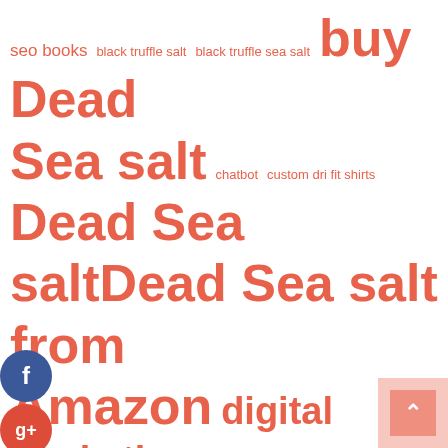[Figure (infographic): Tag cloud / word cloud with various marketing and e-commerce related keywords in different font sizes, all in a coral/salmon-red color. Terms include: seo books, black truffle salt, black truffle sea salt, buy Dead Sea salt, chatbot, custom dri fit shirts, Dead Sea salt, Dead Sea salt from Amazon, digital marketing, digital marketing agency, digital marketing book, digital marketing course, digital marketing courses, Facebook Chatbot, Facebook Messenger Bot, foot orthotics, furniture, Himalayan pink salt, Himalayan salt, marketing automation course, marketing courses, Messenger Bot, movers, moving company, online, online marketing courses. Social media icons (Facebook, Google+, Twitter, plus) appear on the left side. A scroll-to-top button appears bottom right.]